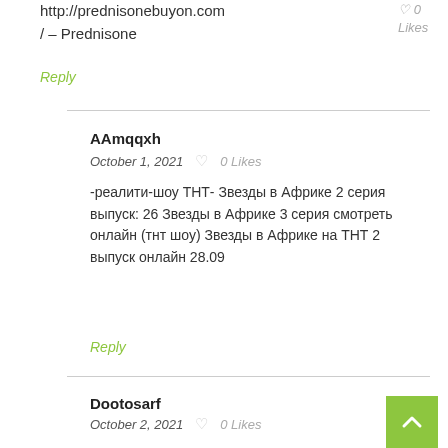http://prednisonebuyon.com/ – Prednisone
October 1, 2021   ♡ 0 Likes
Reply
AAmqqxh
October 1, 2021   ♡ 0 Likes
-реалити-шоу ТНТ- Звезды в Африке 2 серия выпуск: 26 Звезды в Африке 3 серия смотреть онлайн (тнт шоу) Звезды в Африке на ТНТ 2 выпуск онлайн 28.09
Reply
Dootosarf
October 2, 2021   ♡ 0 Likes
http://...